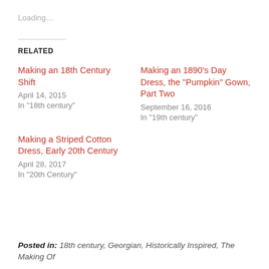Loading…
RELATED
Making an 18th Century Shift
April 14, 2015
In "18th century"
Making an 1890’s Day Dress, the “Pumpkin” Gown, Part Two
September 16, 2016
In "19th century"
Making a Striped Cotton Dress, Early 20th Century
April 28, 2017
In "20th Century"
Posted in: 18th century, Georgian, Historically Inspired, The Making Of